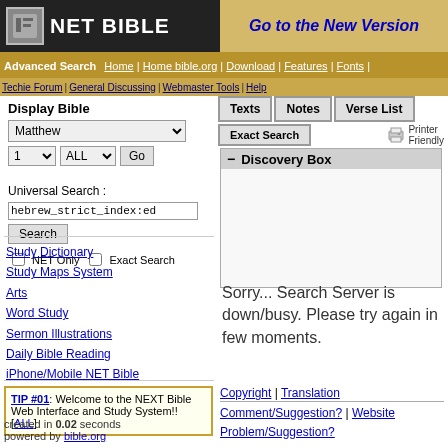[Figure (logo): NET BIBLE logo with stone tablet icon on dark background]
Go to the New Version
Advanced Search | Home | Home bible.org | Download | Features | Fonts | Techie Forum | General Discussing | Webmaster Tools | Help
Display Bible
Matthew
1   ALL   Go
Texts   Notes   Verse List
Exact Search
Discovery Box
Universal Search :
hebrew_strict_index:ed
Search
NET Only   Exact Search
Study Dictionary
Study Maps System
Arts
Word Study
Sermon Illustrations
Daily Bible Reading
iPhone/Mobile NET Bible
Sorry... Search Server is down/busy. Please try again in few moments.
TIP #01: Welcome to the NEXT Bible Web Interface and Study System!! [ALL]
created in 0.02 seconds
powered by bible.org
Copyright | Translation Comment/Suggestion? | Website Problem/Suggestion?